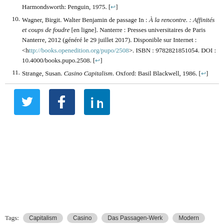Harmondsworth: Penguin, 1975. [↩]
Wagner, Birgit. Walter Benjamin de passage In : À la rencontre. : Affinités et coups de foudre [en ligne]. Nanterre : Presses universitaires de Paris Nanterre, 2012 (généré le 29 juillet 2017). Disponible sur Internet : <http://books.openedition.org/pupo/2508>. ISBN : 9782821851054. DOI : 10.4000/books.pupo.2508. [↩]
Strange, Susan. Casino Capitalism. Oxford: Basil Blackwell, 1986. [↩]
[Figure (other): Social media share buttons: Twitter (blue bird icon), Facebook (dark blue F icon), LinkedIn (blue in icon)]
Tags: Capitalism  Casino  Das Passagen-Werk  Modern